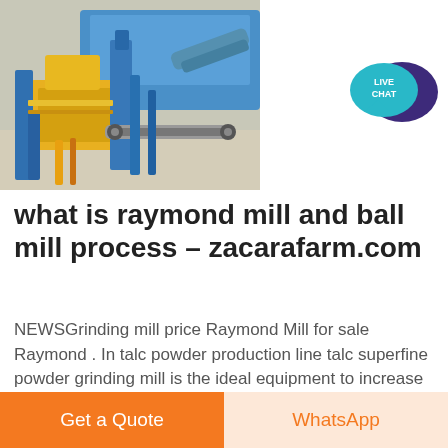[Figure (photo): Industrial grinding mill equipment — yellow and blue machinery with conveyor belts and structural frames, photographed outdoors on a gravel surface.]
[Figure (illustration): Live Chat speech bubble icon: a teal/cyan bubble with 'LIVE CHAT' text and a dark purple larger speech bubble behind it.]
what is raymond mill and ball mill process - zacarafarm.com
NEWSGrinding mill price Raymond Mill for sale Raymond . In talc powder production line talc superfine powder grinding mill is the ideal equipment to increase the addedvalue of talc and process
Get a Quote   WhatsApp